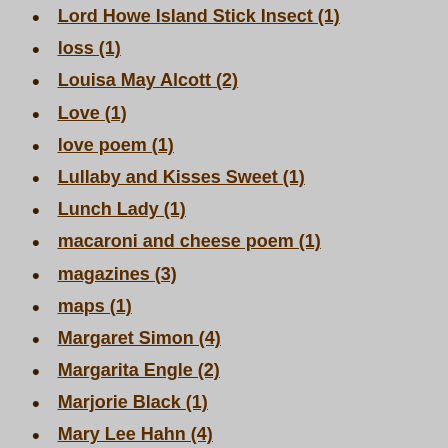Lord Howe Island Stick Insect (1)
loss (1)
Louisa May Alcott (2)
Love (1)
love poem (1)
Lullaby and Kisses Sweet (1)
Lunch Lady (1)
macaroni and cheese poem (1)
magazines (3)
maps (1)
Margaret Simon (4)
Margarita Engle (2)
Marjorie Black (1)
Mary Lee Hahn (4)
May (1)
media specialists (1)